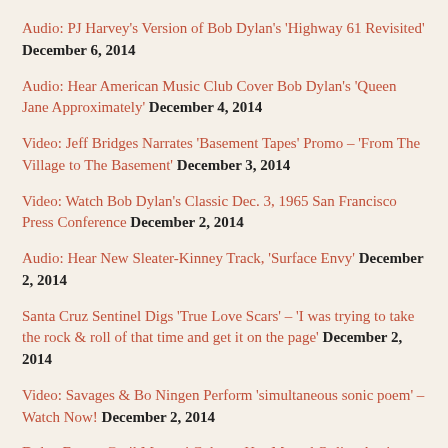Audio: PJ Harvey's Version of Bob Dylan's 'Highway 61 Revisited' December 6, 2014
Audio: Hear American Music Club Cover Bob Dylan's 'Queen Jane Approximately' December 4, 2014
Video: Jeff Bridges Narrates 'Basement Tapes' Promo – 'From The Village to The Basement' December 3, 2014
Video: Watch Bob Dylan's Classic Dec. 3, 1965 San Francisco Press Conference December 2, 2014
Audio: Hear New Sleater-Kinney Track, 'Surface Envy' December 2, 2014
Santa Cruz Sentinel Digs 'True Love Scars' – 'I was trying to take the rock & roll of that time and get it on the page' December 2, 2014
Video: Savages & Bo Ningen Perform 'simultaneous sonic poem' – Watch Now! December 2, 2014
Dylan Expert Greil Marcus' Column Has Moved Online Again – Read It Now! December 1, 2014
Video: Bob Dylan Sings 'Stay With Me,' 'Long And Wasted Years' &